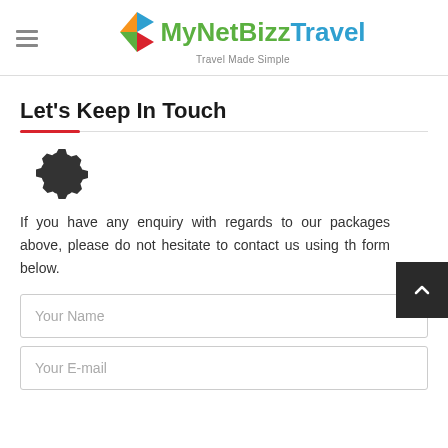MyNetBizz Travel — Travel Made Simple
Let's Keep In Touch
[Figure (illustration): A gear/settings icon in dark color]
If you have any enquiry with regards to our packages above, please do not hesitate to contact us using the form below.
Your Name
Your E-mail